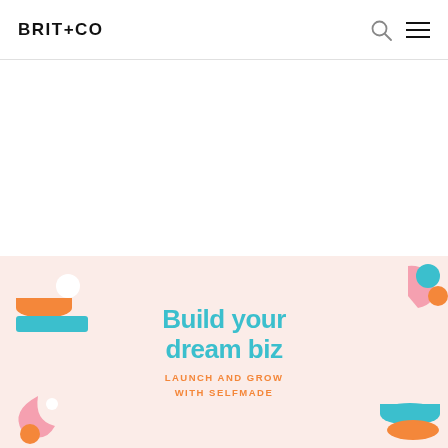BRIT+CO
[Figure (illustration): Brit+Co website screenshot showing a header navigation bar with the BRIT+CO logo on the left, a search icon and hamburger menu icon on the right. Below the header is a large white/blank content area. At the bottom is a promotional banner with a pink background showing decorative geometric shapes and bowls on the left and right sides, with the text 'Build your dream biz' in teal and 'LAUNCH AND GROW WITH SELFMADE' in orange.]